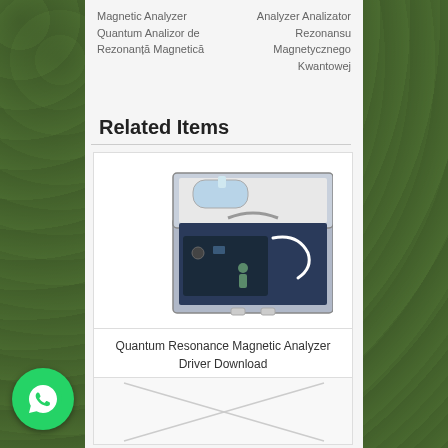Magnetic Analyzer Quantum Analizor de Rezonantă Magnetică    Analyzer Analizator Rezonansu Magnetycznego Kwantowej
Related Items
[Figure (photo): Photo of a Quantum Resonance Magnetic Analyzer device in a metal briefcase, with accessories including a white handheld probe and cables.]
Quantum Resonance Magnetic Analyzer Driver Download
[Figure (photo): Placeholder image with diagonal cross lines indicating a missing/loading image.]